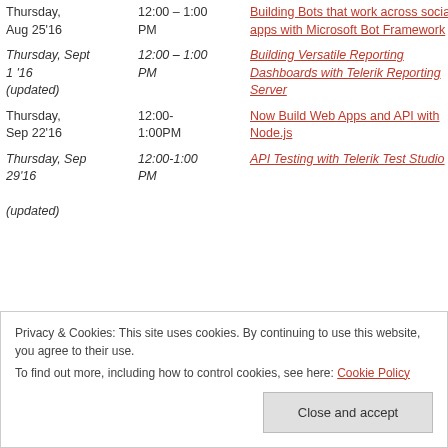| Date | Time | Session |
| --- | --- | --- |
| Thursday, Aug 25'16 | 12:00 – 1:00 PM | Building Bots that work across social apps with Microsoft Bot Framework |
| Thursday, Sept 1 '16 (updated) | 12:00 – 1:00 PM | Building Versatile Reporting Dashboards with Telerik Reporting Server |
| Thursday, Sep 22'16 | 12:00-1:00PM | Now Build Web Apps and API with Node.js |
| Thursday, Sep 29'16 (updated) | 12:00-1:00 PM | API Testing with Telerik Test Studio |
Privacy & Cookies: This site uses cookies. By continuing to use this website, you agree to their use. To find out more, including how to control cookies, see here: Cookie Policy
Close and accept